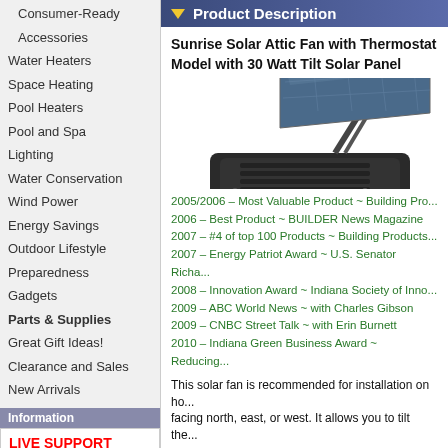Consumer-Ready
Accessories
Water Heaters
Space Heating
Pool Heaters
Pool and Spa
Lighting
Water Conservation
Wind Power
Energy Savings
Outdoor Lifestyle
Preparedness
Gadgets
Parts & Supplies
Great Gift Ideas!
Clearance and Sales
New Arrivals
Information
LIVE SUPPORT
9am - 5pm EST M-F
800 333 9276
941 360 9276
Sales Support
Tech Support
Contact Info
Legal | Policies
Mailing List
Name:
Product Description
Sunrise Solar Attic Fan with Thermostat Model with 30 Watt Tilt Solar Panel
[Figure (photo): Solar attic fan with tilted 30-watt solar panel mounted on a dark base unit]
2005/2006 – Most Valuable Product ~ Building Pro...
2006 – Best Product ~ BUILDER News Magazine
2007 – #4 of top 100 Products ~ Building Products...
2007 – Energy Patriot Award ~ U.S. Senator Richa...
2008 – Innovation Award ~ Indiana Society of Inno...
2009 – ABC World News ~ with Charles Gibson
2009 – CNBC Street Talk ~ with Erin Burnett
2010 – Indiana Green Business Award ~ Reducing...
This solar fan is recommended for installation on ho... facing north, east, or west. It allows you to tilt the...